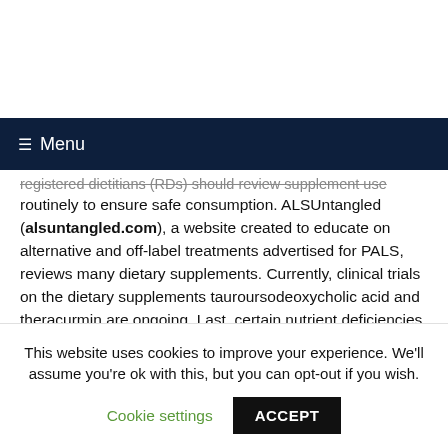☰ Menu
registered dietitians (RDs) should review supplement use routinely to ensure safe consumption. ALSUntangled (alsuntangled.com), a website created to educate on alternative and off-label treatments advertised for PALS, reviews many dietary supplements. Currently, clinical trials on the dietary supplements tauroursodeoxycholic acid and theracurmin are ongoing. Last, certain nutrient deficiencies (e.g., vitamin B12, copper, thiamine) may mimic ALS signs
This website uses cookies to improve your experience. We'll assume you're ok with this, but you can opt-out if you wish.
Cookie settings   ACCEPT